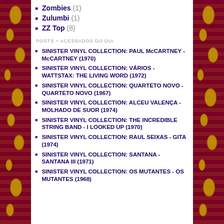Zombies (1)
Zulumbi (1)
ZZ Top (8)
POSTS + ACESSADOS DO DIA
SINISTER VINYL COLLECTION: PAUL McCARTNEY - McCARTNEY (1970)
SINISTER VINYL COLLECTION: VÁRIOS - WATTSTAX: THE LIVING WORD (1972)
SINISTER VINYL COLLECTION: QUARTETO NOVO - QUARTETO NOVO (1967)
SINISTER VINYL COLLECTION: ALCEU VALENÇA - MOLHADO DE SUOR (1974)
SINISTER VINYL COLLECTION: THE INCREDIBLE STRING BAND - I LOOKED UP (1970)
SINISTER VINYL COLLECTION: RAUL SEIXAS - GITA (1974)
SINISTER VINYL COLLECTION: SANTANA - SANTANA III (1971)
SINISTER VINYL COLLECTION: OS MUTANTES - OS MUTANTES (1968)